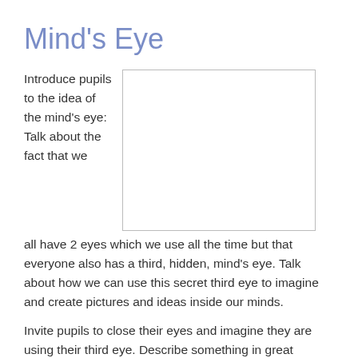Mind's Eye
Introduce pupils to the idea of the mind's eye: Talk about the fact that we all have 2 eyes which we use all the time but that everyone also has a third, hidden, mind's eye. Talk about how we can use this secret third eye to imagine and create pictures and ideas inside our minds.
[Figure (other): A blank rectangular image placeholder with a light border]
Invite pupils to close their eyes and imagine they are using their third eye. Describe something in great